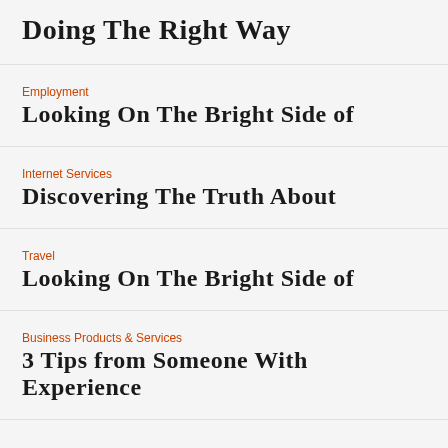Doing The Right Way
Employment
Looking On The Bright Side of
Internet Services
Discovering The Truth About
Travel
Looking On The Bright Side of
Business Products & Services
3 Tips from Someone With Experience